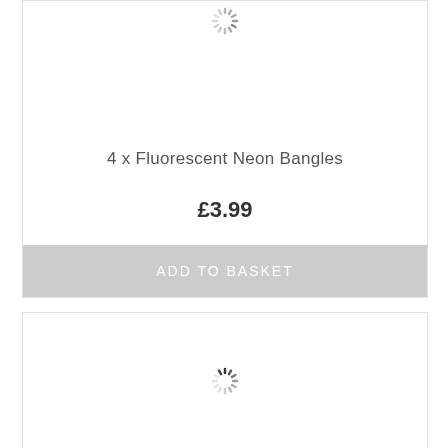[Figure (other): Loading spinner icon at top of first product card]
4 x Fluorescent Neon Bangles
£3.99
ADD TO BASKET
[Figure (other): Loading spinner icon in second product card]